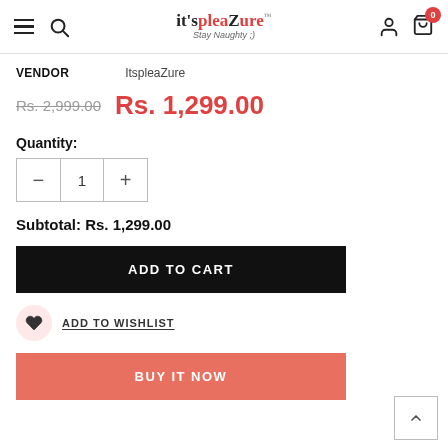it'spleaZure Stay Naughty ;)
VENDOR   ItspleaZure
Rs. 2,999.00  Rs. 1,299.00
Quantity:
- 1 +
Subtotal: Rs. 1,299.00
ADD TO CART
ADD TO WISHLIST
BUY IT NOW